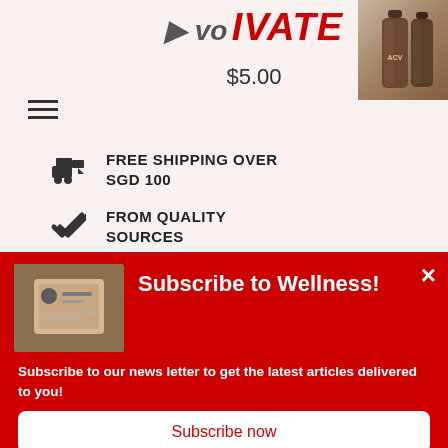Fitivate – $5.00
FREE SHIPPING OVER SGD 100
FROM QUALITY SOURCES
VALUE FOR MONEY
Subscribe to Wellness!
Subscribe to our news letter to get the latest articles delivered to you!
Subscribe now